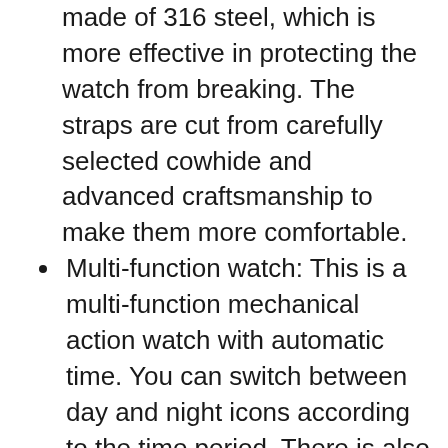made of 316 steel, which is more effective in protecting the watch from breaking. The straps are cut from carefully selected cowhide and advanced craftsmanship to make them more comfortable.
Multi-function watch: This is a multi-function mechanical action watch with automatic time. You can switch between day and night icons according to the time period. There is also an automatic rotation of the tourbillon for your visual enjoyment. This is a watch you are very proud of.
5ATM waterproof: waterproof depth of 50 meters, built-in waterproof accessories with high-precision sealing waterproof ring, effectively protect hot